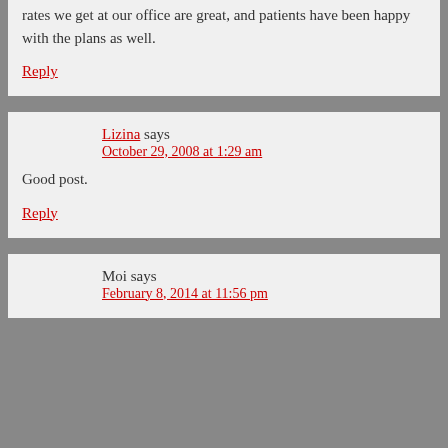rates we get at our office are great, and patients have been happy with the plans as well.
Reply
Lizina says
October 29, 2008 at 1:29 am
Good post.
Reply
Moi says
February 8, 2014 at 11:56 pm